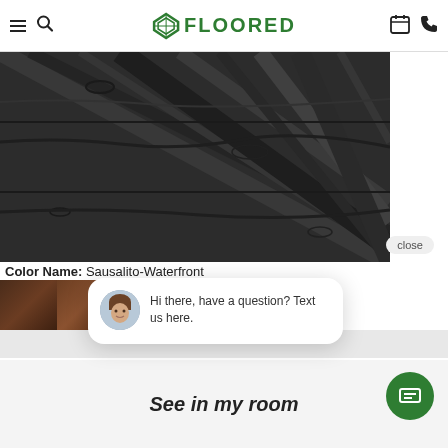Floored – navigation header with menu, search, logo, calendar, phone icons
[Figure (photo): Close-up product photo of dark charcoal/grey wood-grain vinyl plank flooring (Sausalito-Waterfront color)]
Color Name: Sausalito-Waterfront
[Figure (photo): Row of color swatch thumbnails showing various wood flooring color options]
[Figure (screenshot): Chat widget popup with avatar photo of woman and text: Hi there, have a question? Text us here.]
See in my room